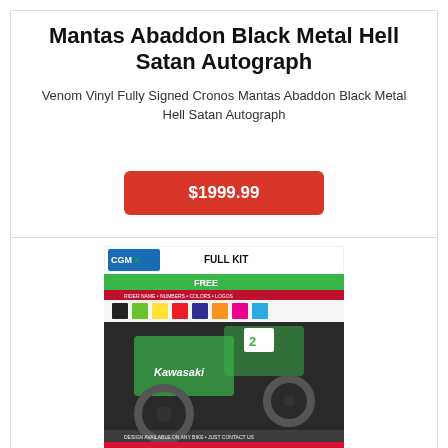Mantas Abaddon Black Metal Hell Satan Autograph
Venom Vinyl Fully Signed Cronos Mantas Abaddon Black Metal Hell Satan Autograph
$1999.99
[Figure (photo): Kawasaki dirt bike with full graphics kit decals, shown with color swatch options and CGMX branding, premium quality graphics advertisement.]
Kawasaki Full Decals Motocross Mx